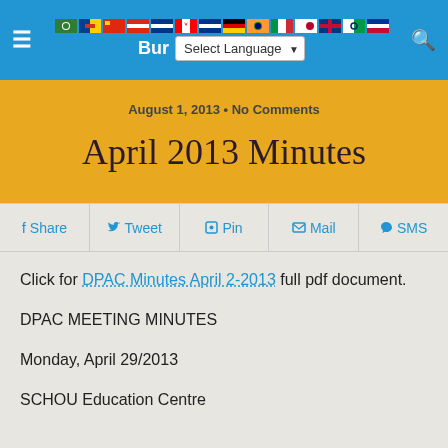≡ Burnaby DPAC | Select Language
August 1, 2013 • No Comments
April 2013 Minutes
f Share  Tweet  Pin  Mail  SMS
Click for DPAC Minutes April 2-2013 full pdf document.
DPAC MEETING MINUTES
Monday, April 29/2013
SCHOU Education Centre